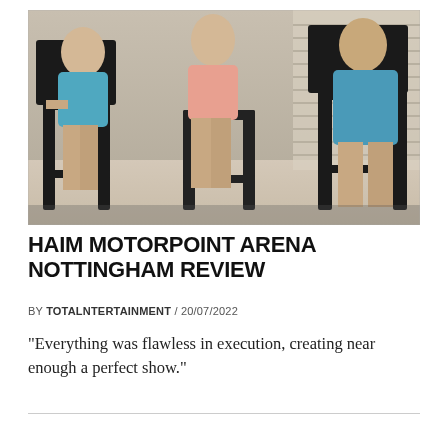[Figure (photo): Three women seated in chairs in a room with window blinds in the background. Two wear blue outfits and one wears a pink/peach top. The image is a promotional or artistic photo, likely for the band HAIM.]
HAIM MOTORPOINT ARENA NOTTINGHAM REVIEW
BY TOTALNTERTAINMENT / 20/07/2022
“Everything was flawless in execution, creating near enough a perfect show.”